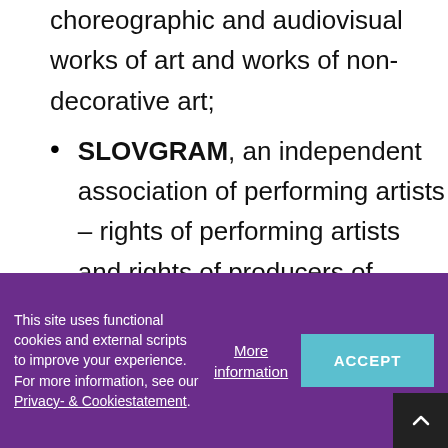choreographic and audiovisual works of art and works of non-decorative art;
SLOVGRAM, an independent association of performing artists – rights of performing artists and rights of producers of sound recordings and sound and picture recordings and broadcasters;
OZIS, association of Slovak
This site uses functional cookies and external scripts to improve your experience. For more information, see our Privacy- & Cookiestatement.
More information
ACCEPT